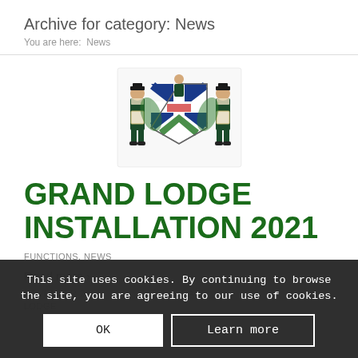Archive for category: News
You are here:  News
[Figure (illustration): Masonic Grand Lodge coat of arms / crest: two figures in regalia flanking a shield with a blue X (saltire), green decorative elements, and a central figure on top]
GRAND LODGE INSTALLATION 2021
FUNCTIONS, NEWS
Read more  ›
NOVEMBER 20... ...GRAND LODGE
This site uses cookies. By continuing to browse the site, you are agreeing to our use of cookies.